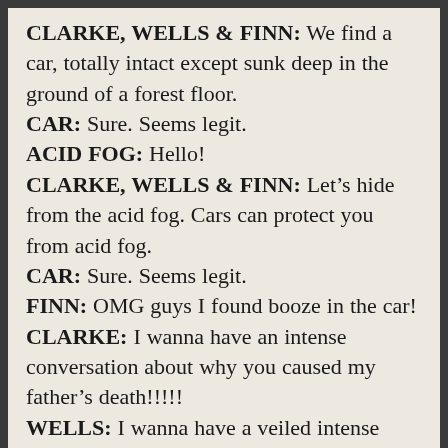CLARKE, WELLS & FINN: We find a car, totally intact except sunk deep in the ground of a forest floor.
CAR: Sure. Seems legit.
ACID FOG: Hello!
CLARKE, WELLS & FINN: Let’s hide from the acid fog. Cars can protect you from acid fog.
CAR: Sure. Seems legit.
FINN: OMG guys I found booze in the car!
CLARKE: I wanna have an intense conversation about why you caused my father’s death!!!!!
WELLS: I wanna have a veiled intense conversation about my love for